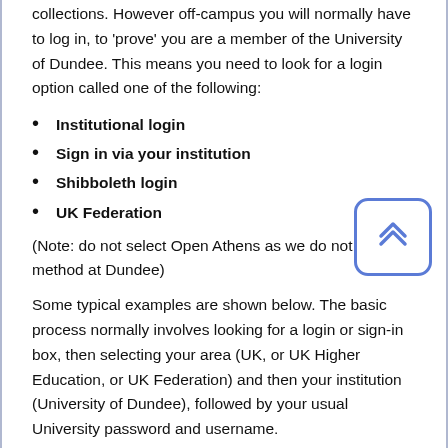collections.  However off-campus you will normally have to log in, to 'prove' you are a member of the University of Dundee.  This means you need to look for a login option called one of the following:
Institutional login
Sign in via your institution
Shibboleth login
UK Federation
(Note: do not select Open Athens as we do not use this method at Dundee)
Some typical examples are shown below.  The basic process normally involves looking for a login or sign-in box, then selecting your area (UK, or UK Higher Education, or UK Federation) and then your institution (University of Dundee), followed by your usual University password and username.